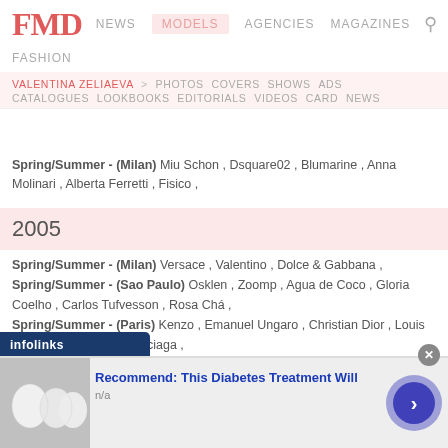FMD | NEWS | MODELS | AGENCIES | MAGAZINES | FASHION
VALENTINA ZELIAEVA > PHOTOS COVERS SHOWS ADS CATALOGUES LOOKBOOKS EDITORIALS VIDEOS CARD NEWS
Spring/Summer - (Milan) Miu Schon, Dsquare02, Blumarine, Anna Molinari, Alberta Ferretti, Fisico,
2005
Spring/Summer - (Milan) Versace, Valentino, Dolce & Gabbana,
Spring/Summer - (Sao Paulo) Osklen, Zoomp, Agua de Coco, Gloria Coelho, Carlos Tufvesson, Rosa Chá,
Spring/Summer - (Paris) Kenzo, Emanuel Ungaro, Christian Dior, Louis Vuitton, Hermes, Balenciaga,
Spring/Summer - (New York) Milly, Ralph Lauren Collection, Vera Wang,
Autumn/Winter - (Milan) Dolce & Gabbana, Iceberg, Versace,
Autumn/Winter - (Sao Paulo) Movimento, Rosa Chá,